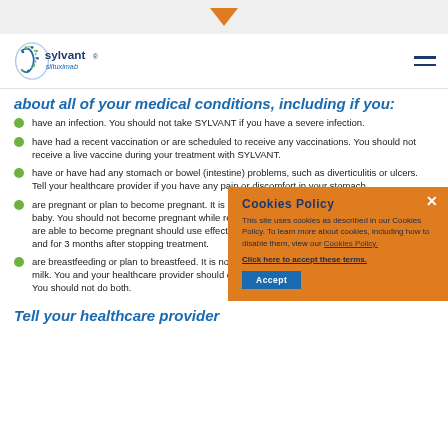[Figure (logo): Sylvant (siltuximab) brand logo with spiral helix graphic in blue and green]
about all of your medical conditions, including if you:
have an infection. You should not take SYLVANT if you have a severe infection.
have had a recent vaccination or are scheduled to receive any vaccinations. You should not receive a live vaccine during your treatment with SYLVANT.
have or have had any stomach or bowel (intestine) problems, such as diverticulitis or ulcers. Tell your healthcare provider if you have any pain or discomfort in your stomach.
are pregnant or plan to become pregnant. It is not known if SYLVANT will harm your unborn baby. You should not become pregnant while receiving treatment with SYLVANT. Females who are able to become pregnant should use effective birth control during treatment with SYLVANT and for 3 months after stopping treatment.
are breastfeeding or plan to breastfeed. It is not known if SYLVANT passes into your breast milk. You and your healthcare provider should decide if you will take SYLVANT or breastfeed. You should not do both.
Tell your healthcare provider